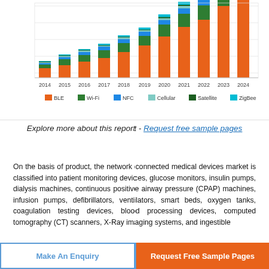[Figure (stacked-bar-chart): Network Connected Medical Devices by Connectivity Technology]
Explore more about this report - Request free sample pages
On the basis of product, the network connected medical devices market is classified into patient monitoring devices, glucose monitors, insulin pumps, dialysis machines, continuous positive airway pressure (CPAP) machines, infusion pumps, defibrillators, ventilators, smart beds, oxygen tanks, coagulation testing devices, blood processing devices, computed tomography (CT) scanners, X-Ray imaging systems, and ingestible